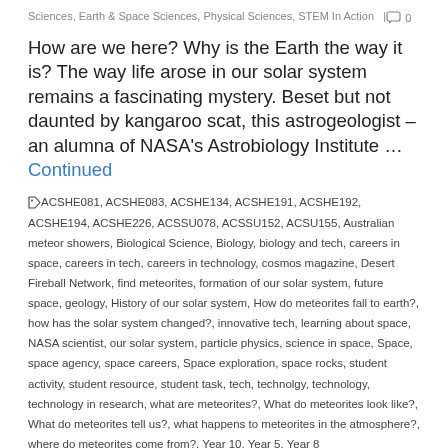Sciences, Earth & Space Sciences, Physical Sciences, STEM In Action  |  ○ 0
How are we here? Why is the Earth the way it is? The way life arose in our solar system remains a fascinating mystery. Beset but not daunted by kangaroo scat, this astrogeologist – an alumna of NASA's Astrobiology Institute … Continued
ACSHE081, ACSHE083, ACSHE134, ACSHE191, ACSHE192, ACSHE194, ACSHE226, ACSSU078, ACSSU152, ACSU155, Australian meteor showers, Biological Science, Biology, biology and tech, careers in space, careers in tech, careers in technology, cosmos magazine, Desert Fireball Network, find meteorites, formation of our solar system, future space, geology, History of our solar system, How do meteorites fall to earth?, how has the solar system changed?, innovative tech, learning about space, NASA scientist, our solar system, particle physics, science in space, Space, space agency, space careers, Space exploration, space rocks, student activity, student resource, student task, tech, technolgy, technology, technology in research, what are meteorites?, What do meteorites look like?, What do meteorites tell us?, what happens to meteorites in the atmosphere?, where do meteorites come from?, Year 10, Year 5, Year 8